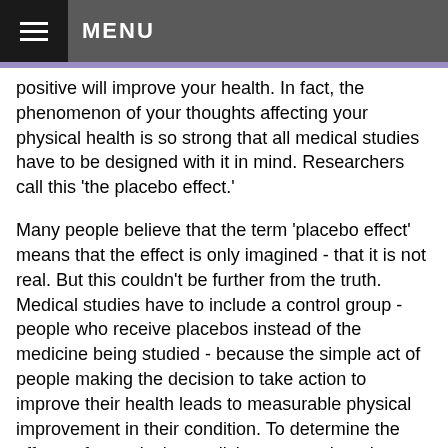MENU
positive will improve your health. In fact, the phenomenon of your thoughts affecting your physical health is so strong that all medical studies have to be designed with it in mind. Researchers call this 'the placebo effect.'
Many people believe that the term 'placebo effect' means that the effect is only imagined - that it is not real. But this couldn't be further from the truth. Medical studies have to include a control group - people who receive placebos instead of the medicine being studied - because the simple act of people making the decision to take action to improve their health leads to measurable physical improvement in their condition. To determine the effects of a particular medicine, researchers have to measure the change in the group who underwent therapy and subtract out the amount of change seen in the placebo group. Otherwise, there is no way to know whether a particular treatment was beneficial or whether it was merely the change in attitude in the study subjects that made the difference